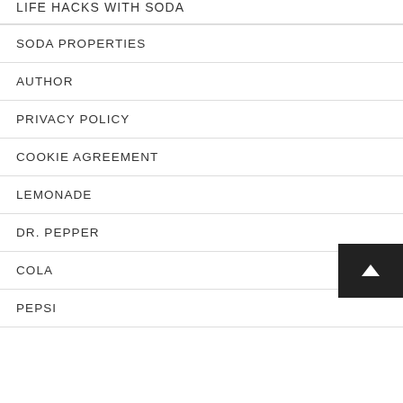LIFE HACKS WITH SODA
SODA PROPERTIES
AUTHOR
PRIVACY POLICY
COOKIE AGREEMENT
LEMONADE
DR. PEPPER
COLA
PEPSI